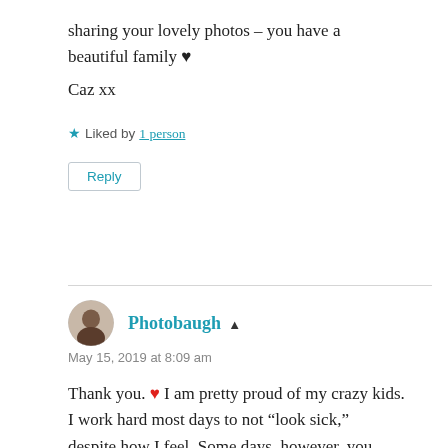sharing your lovely photos – you have a beautiful family ♥
Caz xx
★ Liked by 1 person
Reply
Photobaugh ▲
May 15, 2019 at 8:09 am
Thank you. ❤ I am pretty proud of my crazy kids.
I work hard most days to not "look sick," despite how I feel. Some days, however, you